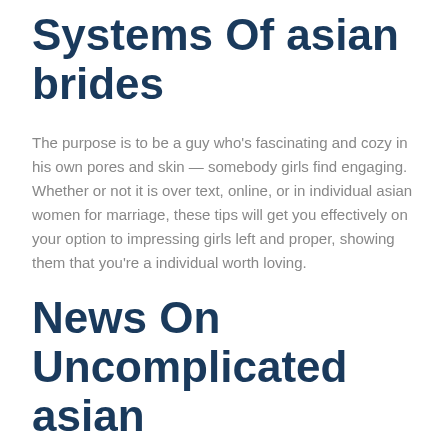Systems Of asian brides
The purpose is to be a guy who’s fascinating and cozy in his own pores and skin — somebody girls find engaging. Whether or not it is over text, online, or in individual asian women for marriage, these tips will get you effectively on your option to impressing girls left and proper, showing them that you’re a individual worth loving.
News On Uncomplicated asian brides Advice